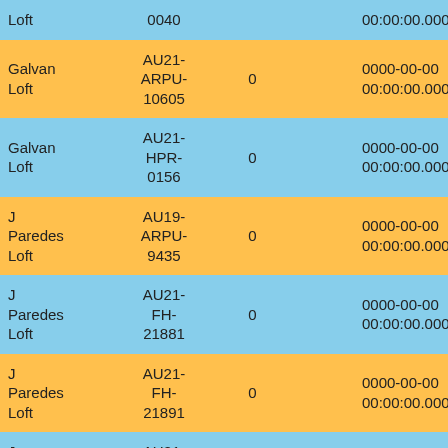| Loft | Band ID | Pos |  | Time | Speed |
| --- | --- | --- | --- | --- | --- |
| Loft | 0040 |  |  | 00:00:00.000 |  |
| Galvan Loft | AU21-ARPU-10605 | 0 |  | 0000-00-00 00:00:00.000 | 0.000 |
| Galvan Loft | AU21-HPR-0156 | 0 |  | 0000-00-00 00:00:00.000 | 0.000 |
| J Paredes Loft | AU19-ARPU-9435 | 0 |  | 0000-00-00 00:00:00.000 | 0.000 |
| J Paredes Loft | AU21-FH-21881 | 0 |  | 0000-00-00 00:00:00.000 | 0.000 |
| J Paredes Loft | AU21-FH-21891 | 0 |  | 0000-00-00 00:00:00.000 | 0.000 |
| J Paredes Loft | AU21-FOYS-7183 | 0 |  | 0000-00-00 00:00:00.000 | 0.000 |
|  | AU20-... |  |  |  |  |